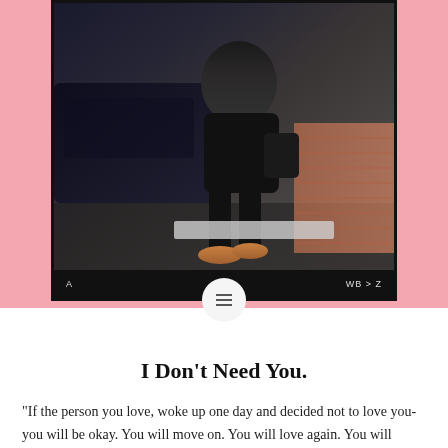[Figure (photo): A person wearing a black leather jacket and black pants sitting outdoors on a ledge or wall, with an orange/tan boot visible, a dark car in background, brick wall to the right, nighttime urban setting. Photo has a black border/frame with dark bar at bottom showing letters 'A' and 'WB > Z'.]
I Don’t Need You.
“If the person you love, woke up one day and decided not to love you- you will be okay. You will move on. You will love again. You will thrive without them. And guess what? Newsflash: They will thrive without you.”-